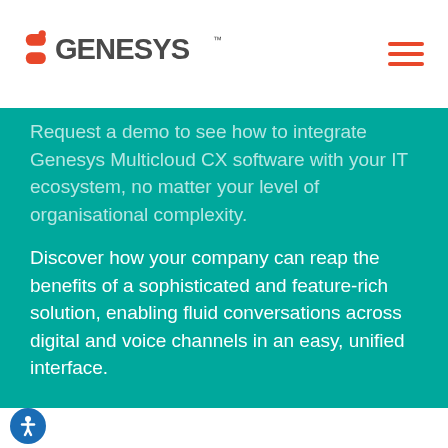Genesys logo and navigation menu
Request a demo to see how to integrate Genesys Multicloud CX software with your IT ecosystem, no matter your level of organisational complexity.
Discover how your company can reap the benefits of a sophisticated and feature-rich solution, enabling fluid conversations across digital and voice channels in an easy, unified interface.